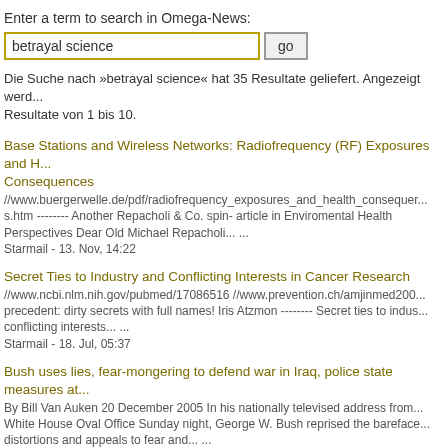Enter a term to search in Omega-News:
betrayal science  go
Die Suche nach »betrayal science« hat 35 Resultate geliefert. Angezeigt werd... Resultate von 1 bis 10.
Base Stations and Wireless Networks: Radiofrequency (RF) Exposures and H... Consequences
//www.buergerwelle.de/pdf/radiofrequency_exposures_and_health_consequer... s.htm -------- Another Repacholi & Co. spin- article in Enviromental Health Perspectives Dear Old Michael Repacholi... ...
Starmail - 13. Nov, 14:22
Secret Ties to Industry and Conflicting Interests in Cancer Research
//www.ncbi.nlm.nih.gov/pubmed/17086516 //www.prevention.ch/amjinmed200... precedent: dirty secrets with full names! Iris Atzmon -------- Secret ties to indus... conflicting interests... ...
Starmail - 18. Jul, 05:37
Bush uses lies, fear-mongering to defend war in Iraq, police state measures at...
By Bill Van Auken 20 December 2005 In his nationally televised address from... White House Oval Office Sunday night, George W. Bush reprised the bareface... distortions and appeals to fear and... ...
Starmail - 20. Dez, 19:31
Der Tod auf leisen Schwingen: die Vogelgrippe ist im Anmarsch
Journalist 11/2005, S. 35 f. Vormarsch der Killer-Enten Fakten-Recherche zu...